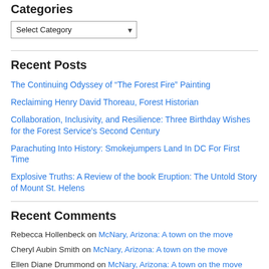Categories
Select Category
Recent Posts
The Continuing Odyssey of “The Forest Fire” Painting
Reclaiming Henry David Thoreau, Forest Historian
Collaboration, Inclusivity, and Resilience: Three Birthday Wishes for the Forest Service’s Second Century
Parachuting Into History: Smokejumpers Land In DC For First Time
Explosive Truths: A Review of the book Eruption: The Untold Story of Mount St. Helens
Recent Comments
Rebecca Hollenbeck on McNary, Arizona: A town on the move
Cheryl Aubin Smith on McNary, Arizona: A town on the move
Ellen Diane Drummond on McNary, Arizona: A town on the move
Rick M… on McNary, Arizona: A town on the move